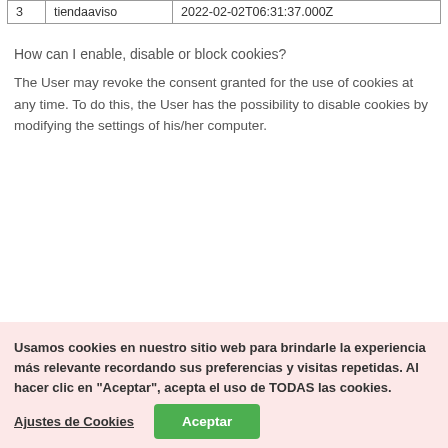| 3 | tiendaaviso | 2022-02-02T06:31:37.000Z |
How can I enable, disable or block cookies?
The User may revoke the consent granted for the use of cookies at any time. To do this, the User has the possibility to disable cookies by modifying the settings of his/her computer.
Usamos cookies en nuestro sitio web para brindarle la experiencia más relevante recordando sus preferencias y visitas repetidas. Al hacer clic en "Aceptar", acepta el uso de TODAS las cookies.
Ajustes de Cookies | Aceptar